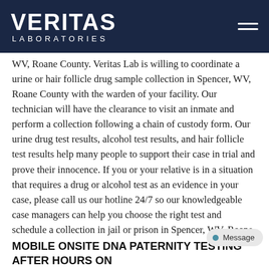VERITAS LABORATORIES
WV, Roane County. Veritas Lab is willing to coordinate a urine or hair follicle drug sample collection in Spencer, WV, Roane County with the warden of your facility. Our technician will have the clearance to visit an inmate and perform a collection following a chain of custody form. Our urine drug test results, alcohol test results, and hair follicle test results help many people to support their case in trial and prove their innocence. If you or your relative is in a situation that requires a drug or alcohol test as an evidence in your case, please call us our hotline 24/7 so our knowledgeable case managers can help you choose the right test and schedule a collection in jail or prison in Spencer, WV, Roane County.
MOBILE ONSITE DNA PATERNITY TESTING AFTER HOURS ON